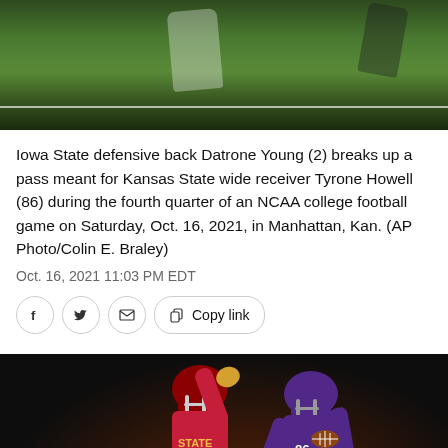[Figure (photo): Top portion of a football game photo showing players on a green field with white yard lines]
Iowa State defensive back Datrone Young (2) breaks up a pass meant for Kansas State wide receiver Tyrone Howell (86) during the fourth quarter of an NCAA college football game on Saturday, Oct. 16, 2021, in Manhattan, Kan. (AP Photo/Colin E. Braley)
Oct. 16, 2021 11:03 PM EDT
[Figure (photo): Football players from Iowa State and Kansas State competing for a pass, one player in red uniform reaching up while a player in purple Kansas State uniform defends]